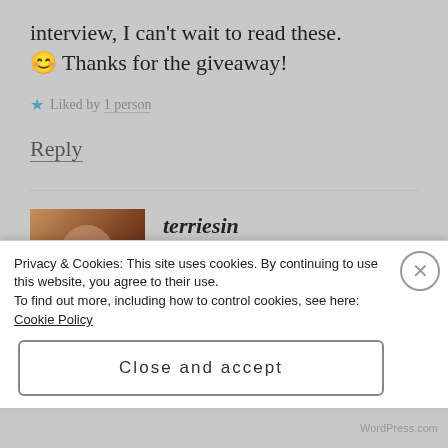interview, I can't wait to read these. 😊 Thanks for the giveaway!
★ Liked by 1 person
Reply
terriesin
JULY 12, 2018 AT 12:36 AM
Privacy & Cookies: This site uses cookies. By continuing to use this website, you agree to their use. To find out more, including how to control cookies, see here: Cookie Policy
Close and accept